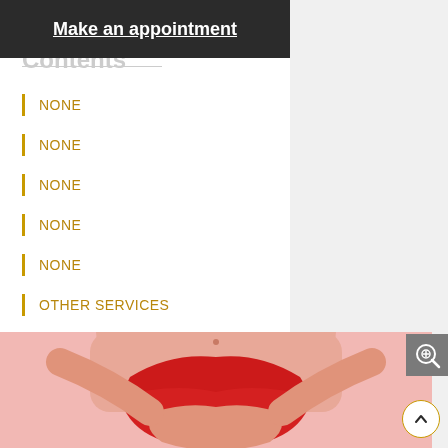Make an appointment
Contents
NONE
NONE
NONE
NONE
NONE
OTHER SERVICES
[Figure (photo): Woman in red swimwear bottom, pink background, holding hands in front]